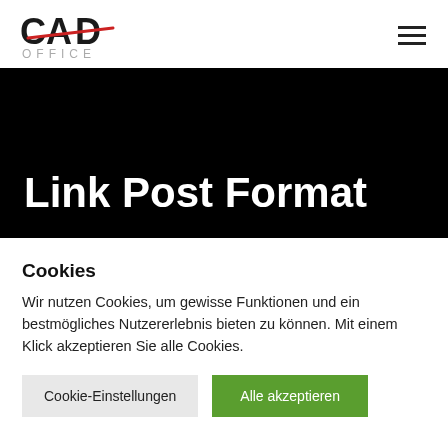[Figure (logo): CAD OFFICE logo — black circle lettering with red diagonal slash accent, gray OFFICE text below]
Link Post Format
Cookies
Wir nutzen Cookies, um gewisse Funktionen und ein bestmögliches Nutzererlebnis bieten zu können. Mit einem Klick akzeptieren Sie alle Cookies.
Cookie-Einstellungen
Alle akzeptieren